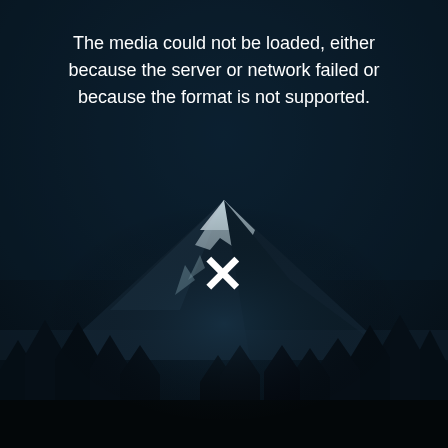[Figure (photo): Dark nighttime photograph of a snow-capped mountain (likely Mount Rainier) with a dark blue sky, snow patches on the peak, and silhouetted evergreen pine trees in the foreground. The image shows an error state with a broken media icon (X) overlaid in the lower center, and an error message at the top.]
The media could not be loaded, either because the server or network failed or because the format is not supported.